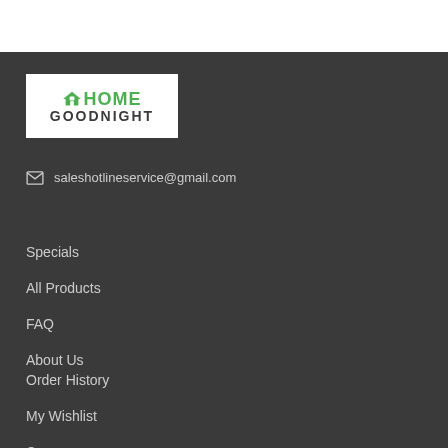[Figure (logo): Home Goodnight logo — white background with green house icon and 'HOME' text in green, 'GOODNIGHT' in dark gray below]
saleshotlineservice@gmail.com
Specials
All Products
FAQ
About Us
Order History
My Wishlist
Compare